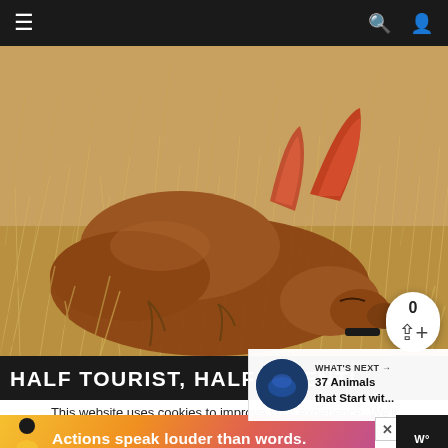Navigation bar with hamburger menu, search and user icons
[Figure (photo): A reddish-brown kangaroo with large orange-red ears lying down in dry grassland/scrubland, eyes closed, resting among dry grass and twigs]
HALF TOURIST, HALF SCIENTI...
WHAT'S NEXT → 37 Animals that Start wit...
This website uses cookies to improve your experience. We'll assume you're ok with this, but you can opt-out if you wish.
[Figure (infographic): Advertisement banner: person silhouette with text 'Actions speak louder than words.']
0 (share count)